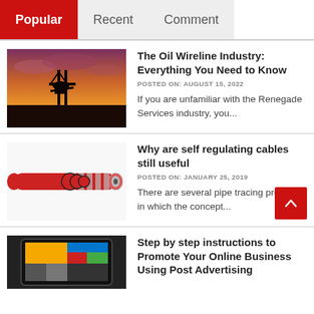Popular | Recent | Comment
The Oil Wireline Industry: Everything You Need to Know
POSTED ON: AUGUST 15, 2022
If you are unfamiliar with the Renegade Services industry, you...
Why are self regulating cables still useful
POSTED ON: JANUARY 25, 2019
There are several pipe tracing projects in which the concept...
Step by step instructions to Promote Your Online Business Using Post Advertising